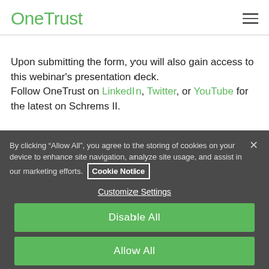OneTrust
Upon submitting the form, you will also gain access to this webinar’s presentation deck.
Follow OneTrust on LinkedIn, Twitter, or YouTube for the latest on Schrems II.
By clicking “Allow All”, you agree to the storing of cookies on your device to enhance site navigation, analyze site usage, and assist in our marketing efforts. Cookie Notice
Customize Settings
Disable All
Allow All